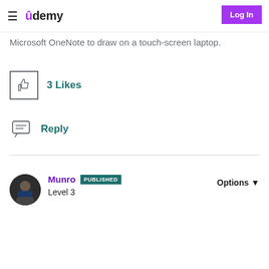udemy — Log In
Microsoft OneNote to draw on a touch-screen laptop.
[Figure (illustration): Thumbs up icon in a square box with '3 Likes' text next to it]
3 Likes
[Figure (illustration): Chat/reply icon with 'Reply' text next to it]
Reply
[Figure (photo): Profile photo of Munro, a person in a dark jacket]
Munro PUBLISHED Level 3
Options ▼